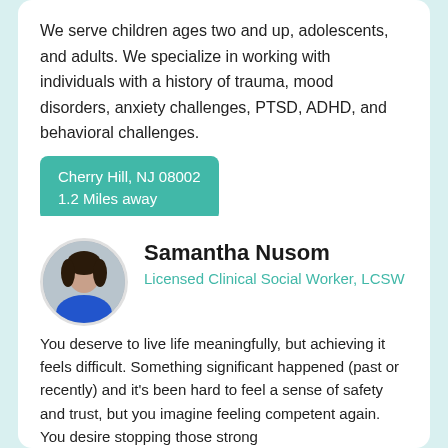We serve children ages two and up, adolescents, and adults. We specialize in working with individuals with a history of trauma, mood disorders, anxiety challenges, PTSD, ADHD, and behavioral challenges.
Cherry Hill, NJ 08002
1.2 Miles away
Provides Post Traumatic Stress Disorder (PTSD) Therapy
[Figure (photo): Circular profile photo of Samantha Nusom, a woman with dark hair wearing a blue top]
Samantha Nusom
Licensed Clinical Social Worker, LCSW
You deserve to live life meaningfully, but achieving it feels difficult. Something significant happened (past or recently) and it's been hard to feel a sense of safety and trust, but you imagine feeling competent again. You desire stopping those strong